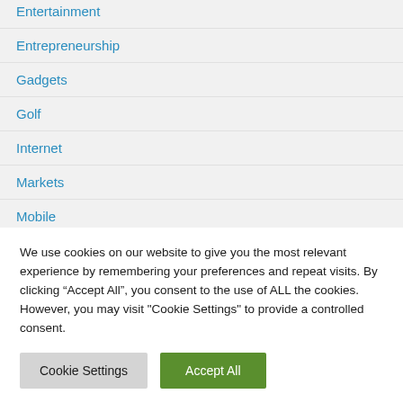Entertainment
Entrepreneurship
Gadgets
Golf
Internet
Markets
Mobile
Movies
Music
We use cookies on our website to give you the most relevant experience by remembering your preferences and repeat visits. By clicking “Accept All”, you consent to the use of ALL the cookies. However, you may visit "Cookie Settings" to provide a controlled consent.
Cookie Settings | Accept All